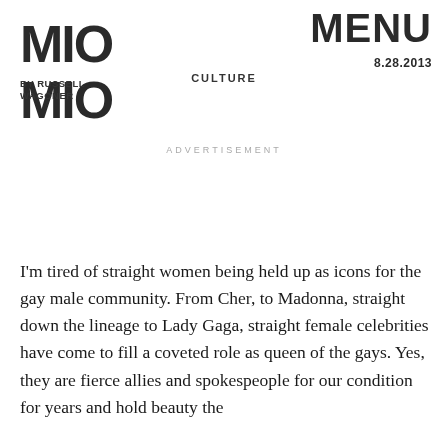MIO MIO — BY RUSSELL WAGONER | CULTURE | MENU 8.28.2013
ADVERTISEMENT
I'm tired of straight women being held up as icons for the gay male community. From Cher, to Madonna, straight down the lineage to Lady Gaga, straight female celebrities have come to fill a coveted role as queen of the gays. Yes, they are fierce allies and spokespeople for our coalition for years and hold beauty the